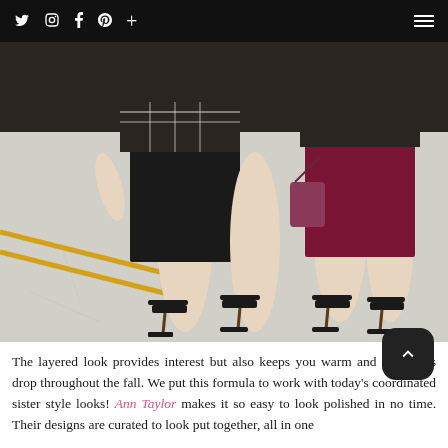Twitter Instagram Facebook Pinterest + [menu]
[Figure (photo): Two women walking on a street/crosswalk, cropped from waist down. One wears a black pencil skirt with a plaid top, the other wears a burgundy/wine-colored skirt. Both wear black strappy high-heel sandals. The background shows a grey concrete road with yellow lane markings.]
The layered look provides interest but also keeps you warm and the temps drop throughout the fall. We put this formula to work with today's coordinated sister style looks! Ann Taylor makes it so easy to look polished in no time. Their designs are curated to look put together, all in one